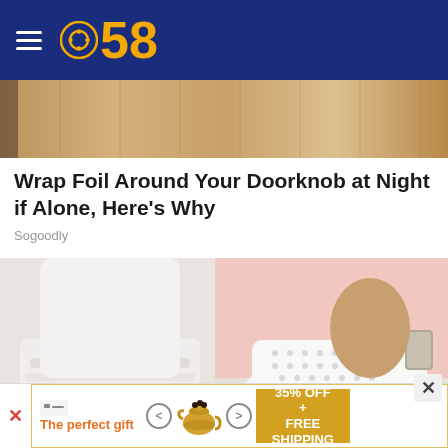CBS 58
[Figure (photo): Partial view of doorknob or metallic background in warm golden tones, top of article image]
Wrap Foil Around Your Doorknob at Night if Alone, Here's Why
Sogoodly
[Figure (photo): Close-up photo of a person wearing white jeans and decorative slip-on sneakers with perforated pattern and studded sole, shot against a pink background]
[Figure (infographic): Advertisement banner: The perfect gift, 35% OFF + FREE SHIPPING, with images of decorative pots]